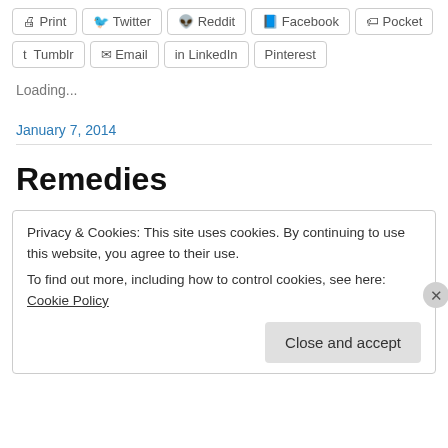[Figure (other): Row of social share buttons: Print, Twitter, Reddit, Facebook, Pocket]
[Figure (other): Row of social share buttons: Tumblr, Email, LinkedIn, Pinterest]
Loading...
January 7, 2014
Remedies
Privacy & Cookies: This site uses cookies. By continuing to use this website, you agree to their use.
To find out more, including how to control cookies, see here: Cookie Policy